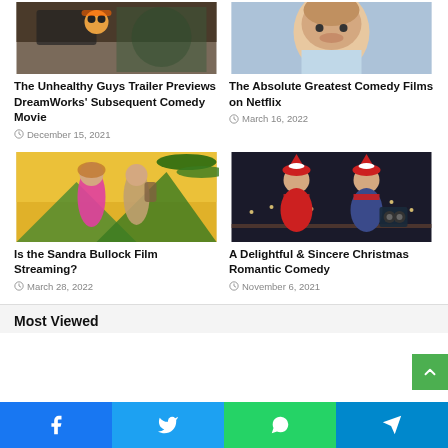[Figure (photo): Top image of animated characters or movie scene (The Unhealthy Guys)]
The Unhealthy Guys Trailer Previews DreamWorks' Subsequent Comedy Movie
December 15, 2021
[Figure (photo): Portrait photo of a person making a face (The Absolute Greatest Comedy Films on Netflix)]
The Absolute Greatest Comedy Films on Netflix
March 16, 2022
[Figure (photo): Two people (man and woman) in adventure/jungle setting (Sandra Bullock film)]
Is the Sandra Bullock Film Streaming?
March 28, 2022
[Figure (photo): Two women in Santa hats and red scarves outdoors at night (Christmas romantic comedy)]
A Delightful & Sincere Christmas Romantic Comedy
November 6, 2021
Most Viewed